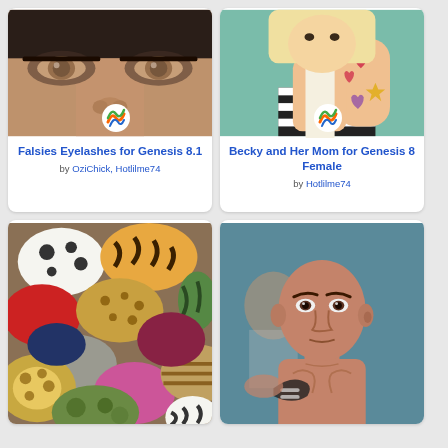[Figure (photo): Close-up render of a 3D character's eyes with dark eye makeup]
Falsies Eyelashes for Genesis 8.1
by OziChick, Hotlilme74
[Figure (photo): 3D render of a girl with tattoos and heart decorations on a teal background]
Becky and Her Mom for Genesis 8 Female
by Hotlilme74
[Figure (photo): Collection of colorful fabric hats with various animal print patterns]
[Figure (photo): 3D render of a bald male character with teal background, showing muscular upper body]